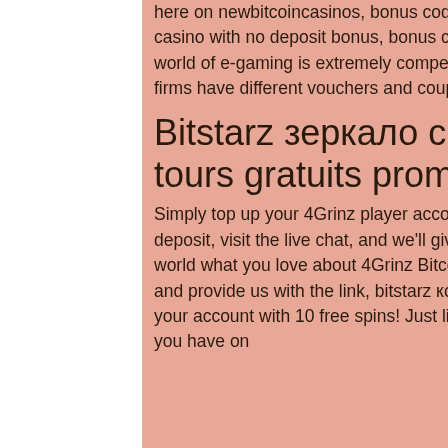here on newbitcoincasinos, bonus code bitstarz casino. What is a bitcoin casino with no deposit bonus, bonus code bitstarz casino. The online world of e-gaming is extremely competitive and to attract customers firms have different vouchers and coupon offers available.
Bitstarz зеркало скачать, bitstarz tours gratuits promo code
Simply top up your 4Grinz player account with a minumum 1mBTC deposit, visit the live chat, and we'll give you 50% more in play! Tell the world what you love about 4Grinz Bitcoin Casino, then visit the Live Chat and provide us with the link, bitstarz код бонуса на депозит. We'll credit your account with 10 free spins! Just like on desktop, you can see what you have on
[Figure (photo): Green tree/leaves foliage photograph on the right side of the page]